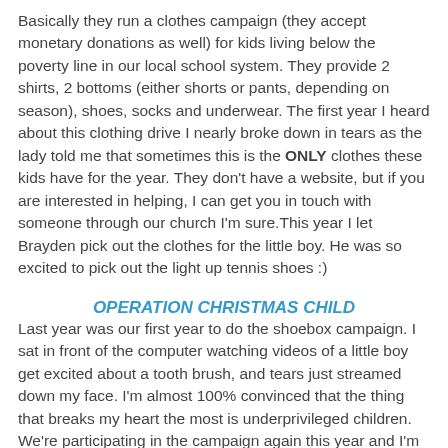Basically they run a clothes campaign (they accept monetary donations as well) for kids living below the poverty line in our local school system. They provide 2 shirts, 2 bottoms (either shorts or pants, depending on season), shoes, socks and underwear. The first year I heard about this clothing drive I nearly broke down in tears as the lady told me that sometimes this is the ONLY clothes these kids have for the year. They don't have a website, but if you are interested in helping, I can get you in touch with someone through our church I'm sure.This year I let Brayden pick out the clothes for the little boy. He was so excited to pick out the light up tennis shoes :)
OPERATION CHRISTMAS CHILD
Last year was our first year to do the shoebox campaign. I sat in front of the computer watching videos of a little boy get excited about a tooth brush, and tears just streamed down my face. I'm almost 100% convinced that the thing that breaks my heart the most is underprivileged children. We're participating in the campaign again this year and I'm so excited because I think Brayden will understand it a little more. I think this is a great way to expand our kids world